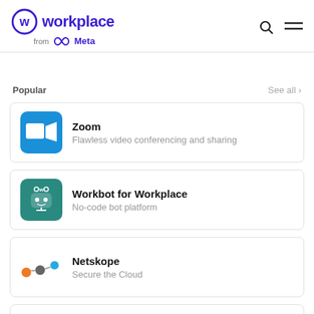[Figure (logo): Workplace from Meta logo with circular W icon in purple]
Popular
See all >
[Figure (logo): Zoom app icon - blue square with white video camera]
Zoom
Flawless video conferencing and sharing
[Figure (logo): Workbot for Workplace icon - teal square with robot face]
Workbot for Workplace
No-code bot platform
[Figure (logo): Netskope logo - connected dots in orange, grey and blue]
Netskope
Secure the Cloud